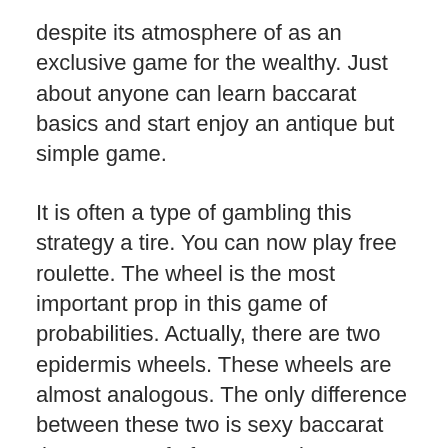despite its atmosphere of as an exclusive game for the wealthy. Just about anyone can learn baccarat basics and start enjoy an antique but simple game.
It is often a type of gambling this strategy a tire. You can now play free roulette. The wheel is the most important prop in this game of probabilities. Actually, there are two epidermis wheels. These wheels are almost analogous. The only difference between these two is sexy baccarat the amount of of green pockets. For instance, a us wheel generally has two green bubbles. These are numbered as zero and double zero. This actually an authentic type of wheel. 바카라 across the north America of one's type of wheel. In Europe different areas, wheels